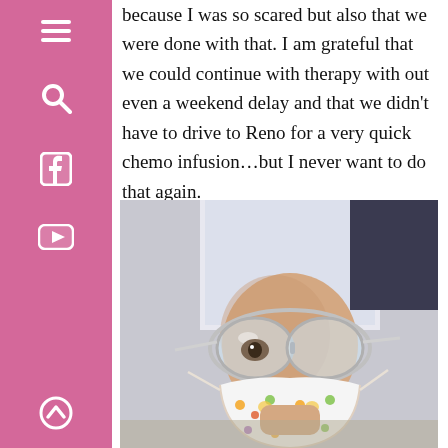[Figure (other): Pink sidebar with white icons: hamburger menu, search, Facebook, YouTube, and up-arrow icons stacked vertically]
because I was so scared but also that we were done with that. I am grateful that we could continue with therapy with out even a weekend delay and that we didn’t have to drive to Reno for a very quick chemo infusion…but I never want to do that again.
[Figure (photo): A young bald child wearing large clear safety goggles and a colorful patterned face mask with animal prints. An adult in a white shirt stands behind them. The setting appears to be indoors.]